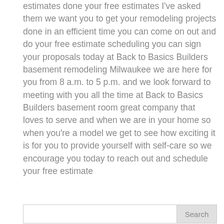estimates done your free estimates I've asked them we want you to get your remodeling projects done in an efficient time you can come on out and do your free estimate scheduling you can sign your proposals today at Back to Basics Builders basement remodeling Milwaukee we are here for you from 8 a.m. to 5 p.m. and we look forward to meeting with you all the time at Back to Basics Builders basement room great company that loves to serve and when we are in your home so when you're a model we get to see how exciting it is for you to provide yourself with self-care so we encourage you today to reach out and schedule your free estimate